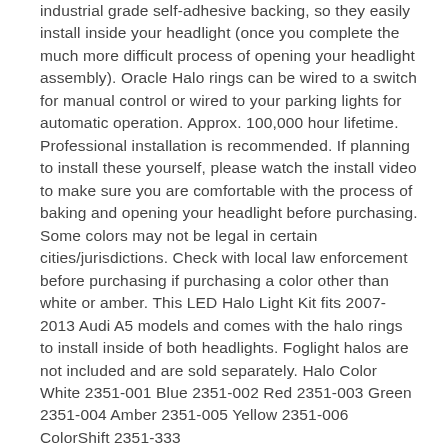industrial grade self-adhesive backing, so they easily install inside your headlight (once you complete the much more difficult process of opening your headlight assembly). Oracle Halo rings can be wired to a switch for manual control or wired to your parking lights for automatic operation. Approx. 100,000 hour lifetime. Professional installation is recommended. If planning to install these yourself, please watch the install video to make sure you are comfortable with the process of baking and opening your headlight before purchasing. Some colors may not be legal in certain cities/jurisdictions. Check with local law enforcement before purchasing if purchasing a color other than white or amber. This LED Halo Light Kit fits 2007-2013 Audi A5 models and comes with the halo rings to install inside of both headlights. Foglight halos are not included and are sold separately. Halo Color White 2351-001 Blue 2351-002 Red 2351-003 Green 2351-004 Amber 2351-005 Yellow 2351-006 ColorShift 2351-333